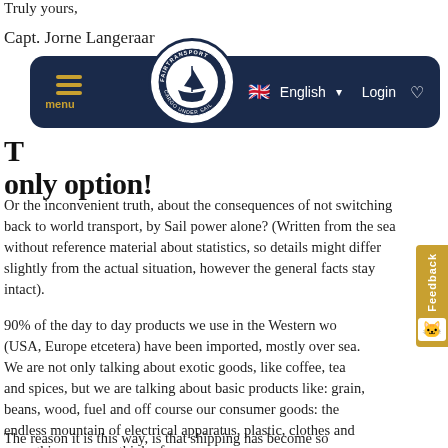Truly yours,
Capt. Jorne Langeraar
[Figure (logo): Fairtransport Cargo Under Sail circular logo with navigation bar showing English language selector and Login button]
The only option!
Or the inconvenient truth, about the consequences of not switching back to world transport, by Sail power alone? (Written from the sea without reference material about statistics, so details might differ slightly from the actual situation, however the general facts stay intact).
90% of the day to day products we use in the Western world (USA, Europe etcetera) have been imported, mostly over sea. We are not only talking about exotic goods, like coffee, tea and spices, but we are talking about basic products like: grain, beans, wood, fuel and off course our consumer goods: the endless mountain of electrical apparatus, plastic, clothes and everything you can think of.
The reason it is this way, is that shipping has become so